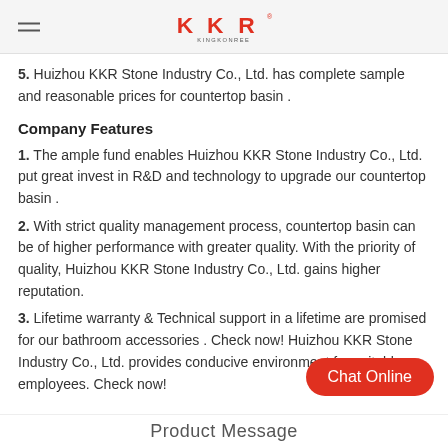KKR KINGKONREE
5. Huizhou KKR Stone Industry Co., Ltd. has complete sample and reasonable prices for countertop basin .
Company Features
1. The ample fund enables Huizhou KKR Stone Industry Co., Ltd. put great invest in R&D and technology to upgrade our countertop basin .
2. With strict quality management process, countertop basin can be of higher performance with greater quality. With the priority of quality, Huizhou KKR Stone Industry Co., Ltd. gains higher reputation.
3. Lifetime warranty & Technical support in a lifetime are promised for our bathroom accessories . Check now! Huizhou KKR Stone Industry Co., Ltd. provides conducive environment for suitable employees. Check now!
Chat Online
Product Message